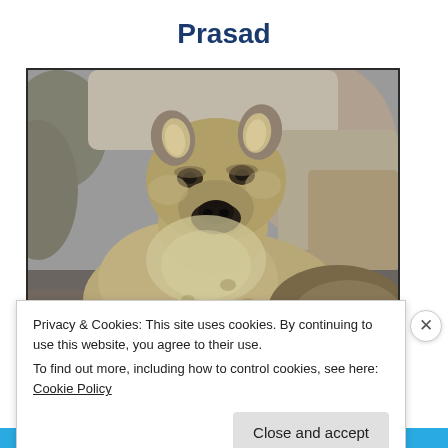Prasad
[Figure (photo): Close-up photograph of a spotted hyena looking directly at the camera, with a rocky background. The hyena has brownish-gray fur, rounded ears, and a broad muzzle.]
Privacy & Cookies: This site uses cookies. By continuing to use this website, you agree to their use.
To find out more, including how to control cookies, see here: Cookie Policy
Close and accept